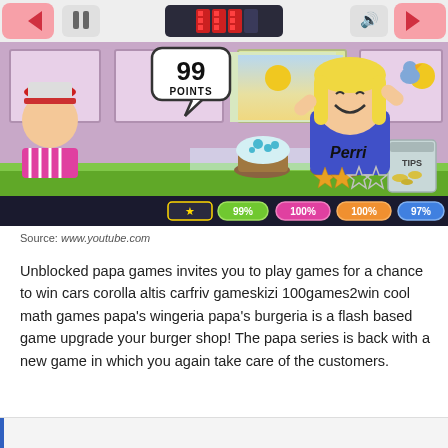[Figure (screenshot): Screenshot of a Papa's bakery/cupcake game showing a character named Perri celebrating with 99 POINTS displayed in a speech bubble. Score bar shows 99%, 100%, 100%, 97% pills at the bottom. Two decorated cupcakes on the counter.]
Source: www.youtube.com
Unblocked papa games invites you to play games for a chance to win cars corolla altis carfriv gameskizi 100games2win cool math games papa's wingeria papa's burgeria is a flash based game upgrade your burger shop! The papa series is back with a new game in which you again take care of the customers.